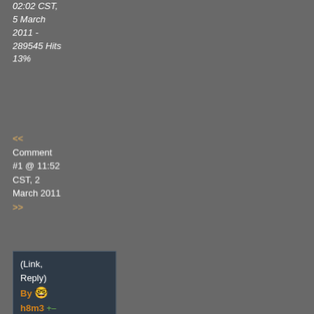02:02 CST, 5 March 2011 - 289545 Hits 13%
<< Comment #1 @ 11:52 CST, 2 March 2011 >>
(Link, Reply) By h8m3 +- COOLLER - - - - - - A - - - - - - P - - - - - - H - - - - - - A
Edited by h8m3 at 11:52 CST, 2 March 2011